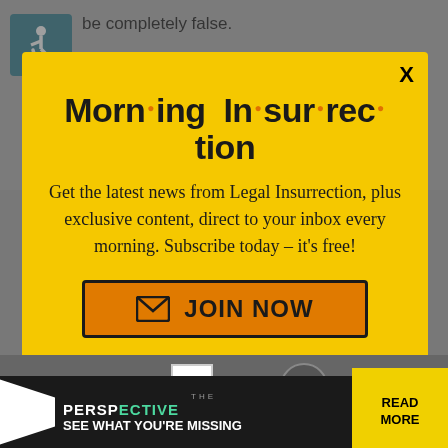be completely false.
You keep saying *THAT* despite it being the desperate lies of a loser.
[Figure (screenshot): Accessibility (wheelchair user) icon in teal/blue square]
Morning Insurrection
Get the latest news from Legal Insurrection, plus exclusive content, direct to your inbox every morning. Subscribe today – it's free!
JOIN NOW
Republicans 0.
Back to top
[Figure (infographic): THE PERSPECTIVE - SEE WHAT YOU'RE MISSING - READ MORE advertisement banner]